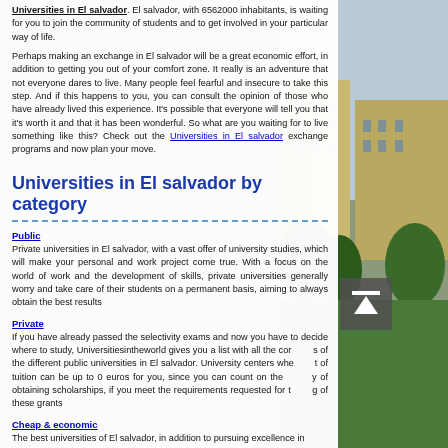Universities in El salvador. El salvador, with 6562000 inhabitants, is waiting for you to join the community of students and to get involved in your particular way of life.
Perhaps making an exchange in El salvador will be a great economic effort, in addition to getting you out of your comfort zone. It really is an adventure that not everyone dares to live. Many people feel fearful and insecure to take this step. And if this happens to you, you can consult the opinion of those who have already lived this experience. It's possible that everyone will tell you that it's worth it and that it has been wonderful. So what are you waiting for to live something like this? Check out the Universities in El salvador exchange programs and now plan your move.
Universities in El salvador by category
Public
Private universities in El salvador, with a vast offer of university studies, which will make your personal and work project come true. With a focus on the world of work and the development of skills, private universities generally worry and take care of their students on a permanent basis, aiming to always obtain the best results
Private
If you have already passed the selectivity exams and now you have to decide where to study, Universitiesintheworld gives you a list with all the cor s of the different public universities in El salvador. University centers whe t of tuition can be up to 0 euros for you, since you can count on the y of obtaining scholarships, if you meet the requirements requested for t g of these grants
Cheap & economic
The best universities of El salvador, in addition to pursuing excellence in...